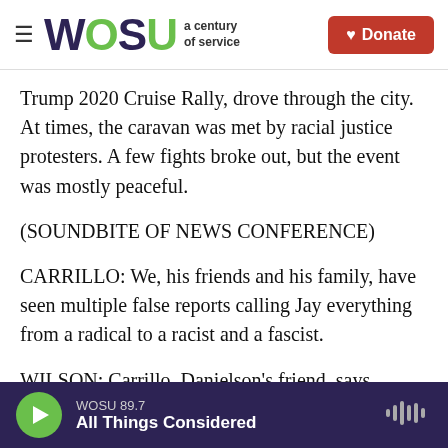WOSU a century of service | Donate
Trump 2020 Cruise Rally, drove through the city. At times, the caravan was met by racial justice protesters. A few fights broke out, but the event was mostly peaceful.
(SOUNDBITE OF NEWS CONFERENCE)
CARRILLO: We, his friends and his family, have seen multiple false reports calling Jay everything from a radical to a racist and a fascist.
WILSON: Carrillo, Danielson's friend, says Danielson was none of those things.
WOSU 89.7 | All Things Considered